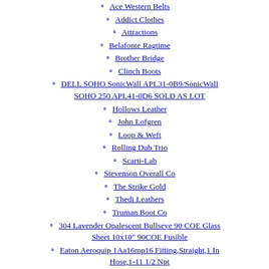Ace Western Belts
Addict Clothes
Attractions
Belafonte Ragtime
Brother Bridge
Clinch Boots
DELL SOHO SonicWall APL31-0B9/SonicWall SOHO 250 APL41-0D6 SOLD AS LOT
Hollows Leather
John Lofgren
Loop & Weft
Rolling Dub Trio
Scarti-Lab
Stevenson Overall Co
The Strike Gold
Thedi Leathers
Truman Boot Co
304 Lavender Opalescent Bullseye 90 COE Glass Sheet 10x10" 90COE Fusible
Eaton Aeroquip 1Aa16mp16 Fitting,Straight,1 In Hose,1-11 1/2 Npt
Westride
White’s Boots
Y’2 Leather
Zerrows Boots